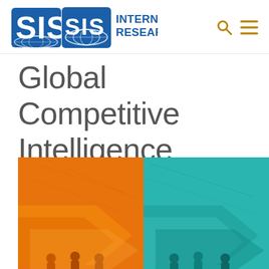[Figure (logo): SIS International Research logo with blue globe icon and blue bold text reading INTERNATIONAL RESEARCH with TM mark]
Global Competitive Intelligence Company
[Figure (illustration): Decorative hero image split into two halves: left half orange/amber background with arrow shapes and silhouetted figures, right half teal/cyan background with arrow shapes and silhouetted figures]